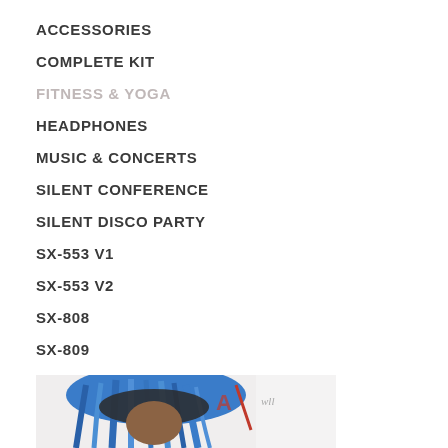ACCESSORIES
COMPLETE KIT
FITNESS & YOGA
HEADPHONES
MUSIC & CONCERTS
SILENT CONFERENCE
SILENT DISCO PARTY
SX-553 V1
SX-553 V2
SX-808
SX-809
TRANSMITTER
[Figure (photo): A person with blue dreadlocks at a silent disco or music event, partial view cropped at bottom of page]